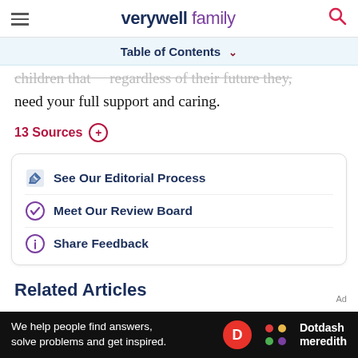verywell family
Table of Contents
children that... regardless of their future they need your full support and caring.
13 Sources
See Our Editorial Process
Meet Our Review Board
Share Feedback
Related Articles